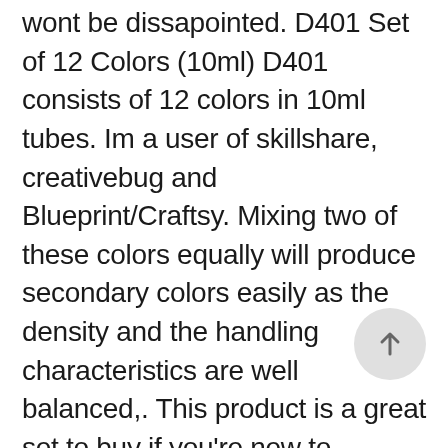wont be dissapointed. D401 Set of 12 Colors (10ml) D401 consists of 12 colors in 10ml tubes. Im a user of skillshare, creativebug and Blueprint/Craftsy. Mixing two of these colors equally will produce secondary colors easily as the density and the handling characteristics are well balanced,. This product is a great set to buy if you're new to gouache. Reviewed in the United States on April 27, 2018. Read honest and unbiased product reviews from our users. Holbein gouache is therefore slightly less opaque than other gouache lines, but offers superior color saturation, handling qualities and all colors lack that chalky/milky look. Made from the finest pigments selected for high density saturation and lightfastness. This page works best with JavaScript. There's a problem